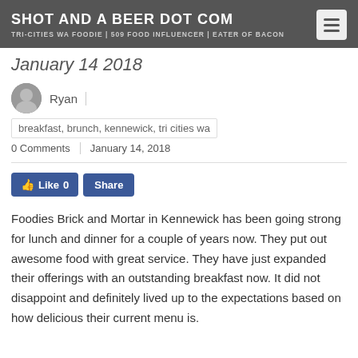SHOT AND A BEER DOT COM
TRI-CITIES WA FOODIE | 509 FOOD INFLUENCER | EATER OF BACON
January 14 2018
Ryan
breakfast, brunch, kennewick, tri cities wa
0 Comments | January 14, 2018
[Figure (other): Facebook Like and Share buttons]
Foodies Brick and Mortar in Kennewick has been going strong for lunch and dinner for a couple of years now. They put out awesome food with great service. They have just expanded their offerings with an outstanding breakfast now. It did not disappoint and definitely lived up to the expectations based on how delicious their current menu is.